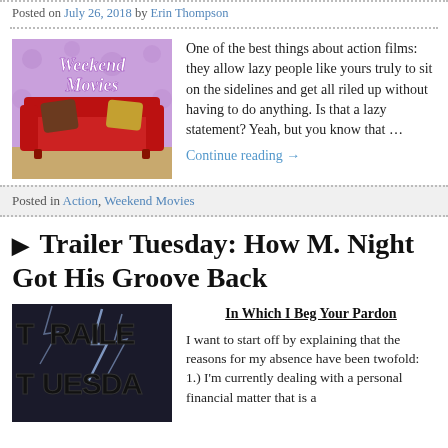Posted on July 26, 2018 by Erin Thompson
[Figure (illustration): Weekend Movies logo with a red couch and decorative pillows on a purple/lavender background with the text 'Weekend Movies' in white script]
One of the best things about action films: they allow lazy people like yours truly to sit on the sidelines and get all riled up without having to do anything. Is that a lazy statement? Yeah, but you know that …
Continue reading →
Posted in Action, Weekend Movies
▶ Trailer Tuesday: How M. Night Got His Groove Back
[Figure (illustration): Dark stormy background with bold grunge text spelling 'TRAILER TUESDAY' in dark letters with lightning effects]
In Which I Beg Your Pardon
I want to start off by explaining that the reasons for my absence have been twofold: 1.) I'm currently dealing with a personal financial matter that is a